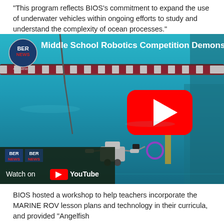"This program reflects BIOS's commitment to expand the use of underwater vehicles within ongoing efforts to study and understand the complexity of ocean processes."
[Figure (screenshot): YouTube video thumbnail showing an underwater robotics competition in a swimming pool. A robotic underwater vehicle (ROV) is visible at the bottom of the pool. The BER NEWS logo appears in the top-left corner with the title 'Middle School Robotics Competition Demonst...' A YouTube play button is centered in the frame. At the bottom, a 'Watch on YouTube' overlay bar with BER NEWS logos is visible.]
BIOS hosted a workshop to help teachers incorporate the MARINE ROV lesson plans and technology in their curricula, and provided "Angelfish